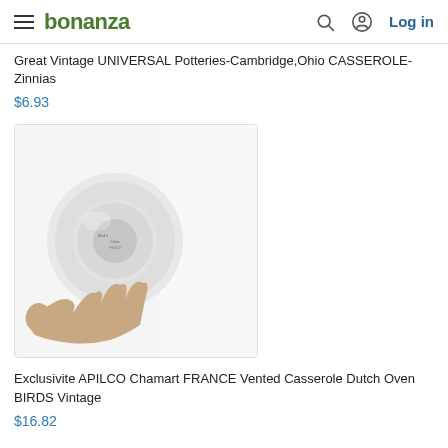bonanza — Log in
Great Vintage UNIVERSAL Potteries-Cambridge,Ohio CASSEROLE-Zinnias
$6.93
[Figure (photo): Product photo showing the bottom of a white ceramic casserole dish, held by a hand, with a maker's mark visible on the base.]
Exclusivite APILCO Chamart FRANCE Vented Casserole Dutch Oven BIRDS Vintage
$16.82